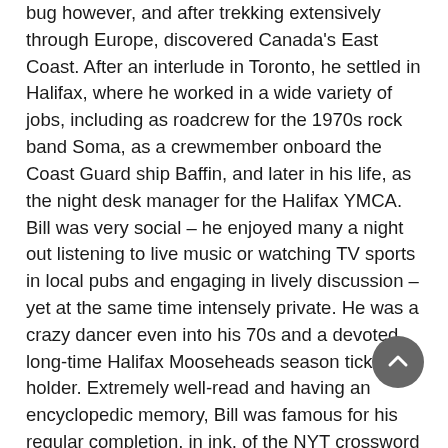bug however, and after trekking extensively through Europe, discovered Canada's East Coast. After an interlude in Toronto, he settled in Halifax, where he worked in a wide variety of jobs, including as roadcrew for the 1970s rock band Soma, as a crewmember onboard the Coast Guard ship Baffin, and later in his life, as the night desk manager for the Halifax YMCA. Bill was very social – he enjoyed many a night out listening to live music or watching TV sports in local pubs and engaging in lively discussion – yet at the same time intensely private. He was a crazy dancer even into his 70s and a devoted long-time Halifax Mooseheads season ticket holder. Extremely well-read and having an encyclopedic memory, Bill was famous for his regular completion, in ink, of the NYT crossword puzzle, with few, if any, corrections. He was a devoted uncle to his grand-nieces Lisa and Amanda McArthur. Bill is survived by